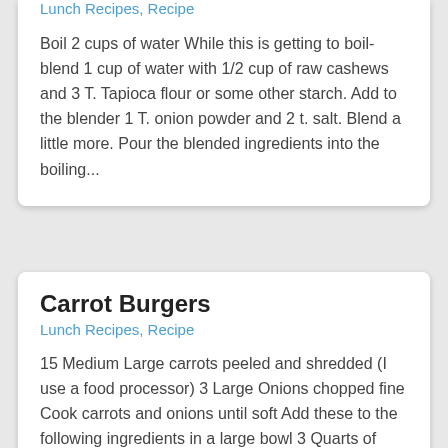Lunch Recipes, Recipe
Boil 2 cups of water While this is getting to boil- blend 1 cup of water with 1/2 cup of raw cashews and 3 T. Tapioca flour or some other starch. Add to the blender 1 T. onion powder and 2 t. salt. Blend a little more. Pour the blended ingredients into the boiling...
Carrot Burgers
Lunch Recipes, Recipe
15 Medium Large carrots peeled and shredded (I use a food processor) 3 Large Onions chopped fine Cook carrots and onions until soft Add these to the following ingredients in a large bowl 3 Quarts of cooked with salt Millet or Quinoa or some of both 2 Packs of Tofu 2 T...